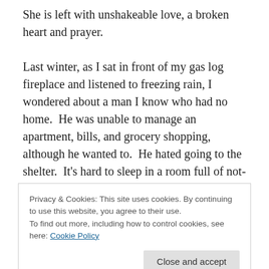She is left with unshakeable love, a broken heart and prayer.

Last winter, as I sat in front of my gas log fireplace and listened to freezing rain, I wondered about a man I know who had no home.  He was unable to manage an apartment, bills, and grocery shopping, although he wanted to.  He hated going to the shelter.  It's hard to sleep in a room full of not-so-clean, snoring, farting, crying men who at any moment might start yelling or take your shoes or go through your stuff.  Many of their brains don't
Privacy & Cookies: This site uses cookies. By continuing to use this website, you agree to their use.
To find out more, including how to control cookies, see here: Cookie Policy
I learned not to blame.  Schizophrenia and bi-polar illness